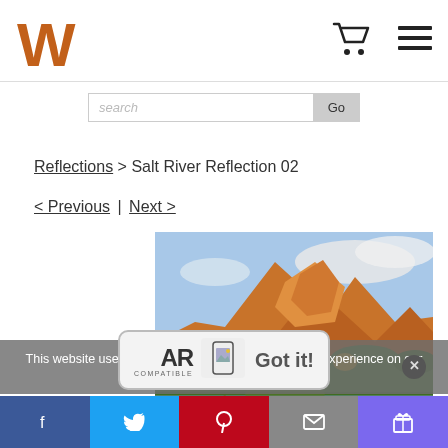Website header with logo and navigation icons
search [Go button]
Reflections > Salt River Reflection 02
< Previous | Next >
[Figure (photo): Landscape photo showing golden rocky mountains reflected in the still water of the Salt River, with green vegetation in the foreground and a partly cloudy sky above.]
This website uses cookies to ensure you get the best experience on our website.
[Figure (logo): AR Compatible badge with mountain/photo icon]
Social sharing bar: Facebook, Twitter, Pinterest, Email, Gift